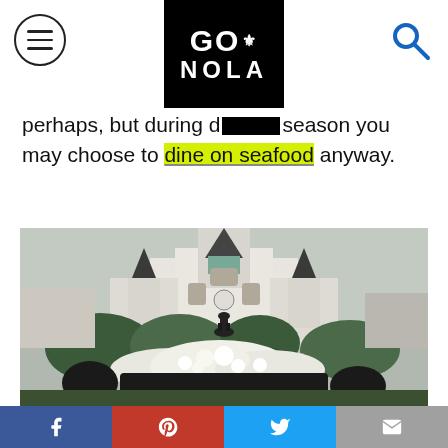GO NOLA
perhaps, but during d[logo]season you may choose to dine on seafood anyway.
[Figure (photo): Jackson Square in New Orleans showing St. Louis Cathedral with white flowers and an equestrian statue in the foreground, overcast sky]
Social share bar: Facebook, Pinterest, Twitter, Email